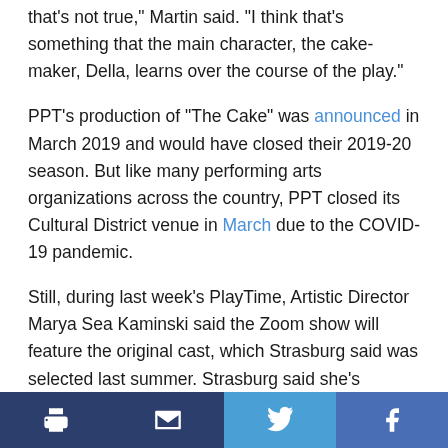that's not true," Martin said. "I think that's something that the main character, the cake-maker, Della, learns over the course of the play."
PPT's production of "The Cake" was announced in March 2019 and would have closed their 2019-20 season. But like many performing arts organizations across the country, PPT closed its Cultural District venue in March due to the COVID-19 pandemic.
Still, during last week's PlayTime, Artistic Director Marya Sea Kaminski said the Zoom show will feature the original cast, which Strasburg said was selected last summer. Strasburg said she's hopeful, based on rehearsals, that the play will lend itself well to an online performance.
Print | Email | Twitter | Facebook